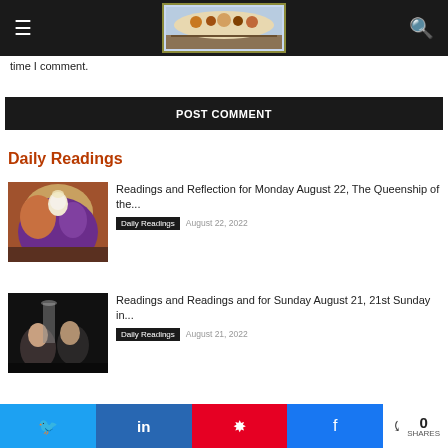[Navigation header with hamburger menu, Last Supper logo image, and search icon]
time I comment.
POST COMMENT
Daily Readings
[Figure (photo): Religious painting showing figures including Mary and others in heavenly scene]
Readings and Reflection for Monday August 22, The Queenship of the...
Daily Readings   August 22, 2022
[Figure (photo): Dark scene showing two figures, possibly Jesus and another person]
Readings and Readings and for Sunday August 21, 21st Sunday in...
Daily Readings   August 21, 2022
Social share buttons: Twitter, LinkedIn, Pinterest, Facebook. 0 SHARES